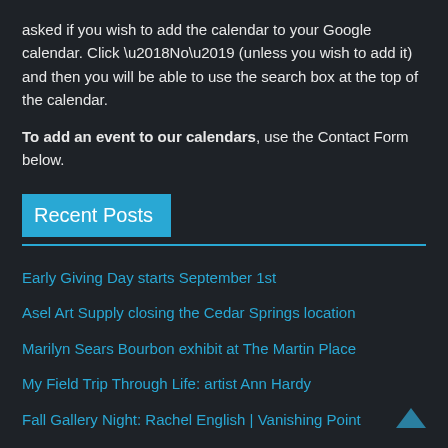asked if you wish to add the calendar to your Google calendar. Click ‘No’ (unless you wish to add it) and then you will be able to use the search box at the top of the calendar.
To add an event to our calendars, use the Contact Form below.
Recent Posts
Early Giving Day starts September 1st
Asel Art Supply closing the Cedar Springs location
Marilyn Sears Bourbon exhibit at The Martin Place
My Field Trip Through Life: artist Ann Hardy
Fall Gallery Night: Rachel English | Vanishing Point
Artspace111 September events
The MAC’s REFUGE – Closing Reception Sat., Aug. 27